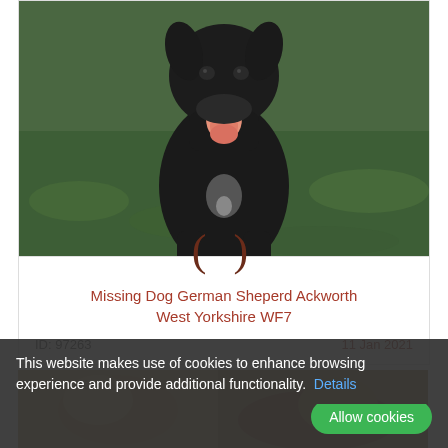[Figure (photo): Black German Shepherd dog sitting on green grass with tongue out, looking at camera]
Missing Dog German Sheperd Ackworth West Yorkshire WF7
ID: 97263    11 Jan 2021
[Figure (photo): Partial view of another dog listing photo at bottom of page]
This website makes use of cookies to enhance browsing experience and provide additional functionality. Details
Allow cookies